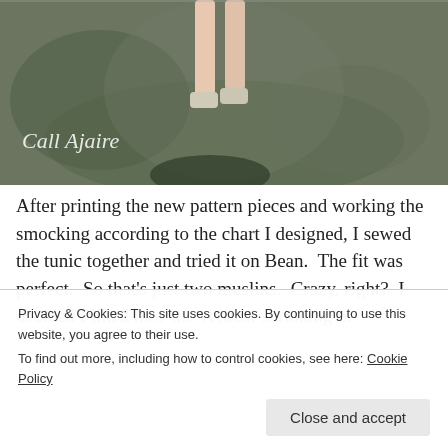[Figure (photo): Photo of a child's legs and white shoes standing on mossy/rocky ground near a large tree trunk, with 'Call Ajaire' watermark in italic white text]
After printing the new pattern pieces and working the smocking according to the chart I designed, I sewed the tunic together and tried it on Bean.  The fit was perfect.  So that's just two muslins.  Crazy, right?  I decided I liked how the vertical shrinking of
Privacy & Cookies: This site uses cookies. By continuing to use this website, you agree to their use.
To find out more, including how to control cookies, see here: Cookie Policy
drafted pattern pieces.